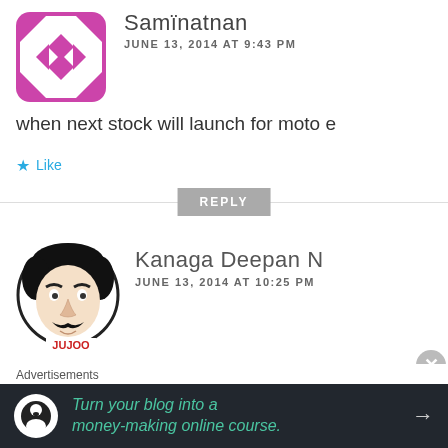[Figure (illustration): Pink and white geometric avatar icon with diamond/triangle pattern]
Samïnatnan
JUNE 13, 2014 AT 9:43 PM
when next stock will launch for moto e
Like
REPLY
[Figure (illustration): Black and white cartoon face avatar with mustache and text JUJOO]
Kanaga Deepan N
JUNE 13, 2014 AT 10:25 PM
OUTTA STOCK AGAIN.... WTF
Advertisements
Turn your blog into a money-making online course.